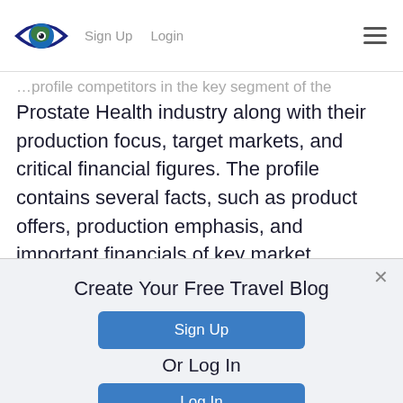Sign Up   Login
Prostate Health industry along with their production focus, target markets, and critical financial figures. The profile contains several facts, such as product offers, production emphasis, and important financials of key market participants. In addition, the report incorporates
Create Your Free Travel Blog
Sign Up
Or Log In
Log In